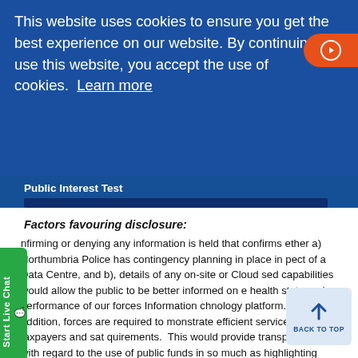[Figure (screenshot): Cookie consent banner overlay on Northumbria Police website with blue background and orange play button]
This website uses cookies to ensure you get the best experience on our website. By continuing to use this website, you accept the use of cookies. Learn more
Public Interest Test
Factors favouring disclosure:
nfirming or denying any information is held that confirms ether a) Northumbria Police has contingency planning in place in pect of a Data Centre, and b), details of any on-site or Cloud sed capabilities would allow the public to be better informed on e health state and performance of our forces Information chnology platform.  In addition, forces are required to monstrate efficient services to local taxpayers and sat quirements.  This would provide transparency with regard to the use of public funds in so much as highlighting that funds are being used to correctly and appropriately ensure all Data Centres have